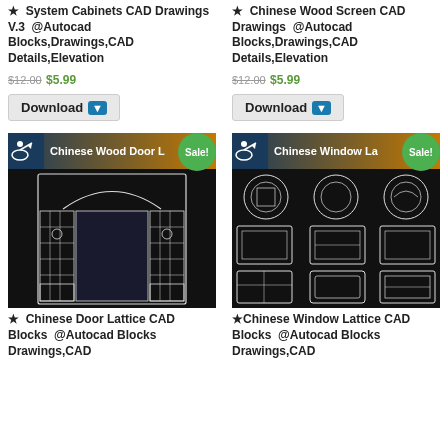★  System Cabinets CAD Drawings V.3  @Autocad Blocks,Drawings,CAD Details,Elevation
$12.00 $5.99
Download
★  Chinese Wood Screen CAD Drawings  @Autocad Blocks,Drawings,CAD Details,Elevation
$12.00 $5.99
Download
[Figure (photo): Chinese Wood Door CAD drawing showing decorative lattice door panels with intricate patterns on black background, Sale! badge]
[Figure (photo): Chinese Window Lattice CAD drawing showing various decorative window frame designs with circular and rectangular shapes on black background, Sale! badge]
★  Chinese Door Lattice CAD Blocks  @Autocad Blocks Drawings,CAD
★ Chinese Window Lattice CAD Blocks  @Autocad Blocks Drawings,CAD